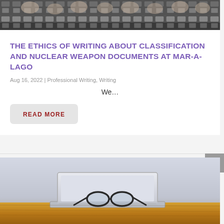[Figure (photo): Black and white close-up photo of typewriter keys]
THE ETHICS OF WRITING ABOUT CLASSIFICATION AND NUCLEAR WEAPON DOCUMENTS AT MAR-A-LAGO
Aug 16, 2022 | Professional Writing, Writing
We…
READ MORE
[Figure (photo): Photo of a laptop with glasses resting on top, sitting on a wooden desk]